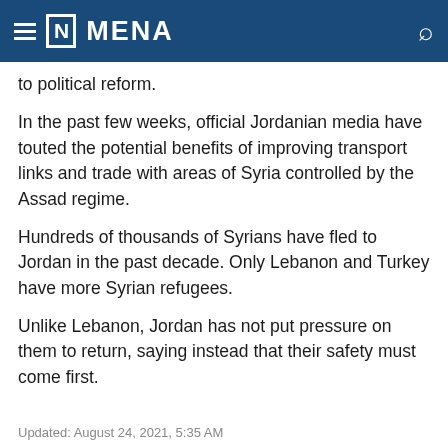[N] MENA
to political reform.
In the past few weeks, official Jordanian media have touted the potential benefits of improving transport links and trade with areas of Syria controlled by the Assad regime.
Hundreds of thousands of Syrians have fled to Jordan in the past decade. Only Lebanon and Turkey have more Syrian refugees.
Unlike Lebanon, Jordan has not put pressure on them to return, saying instead that their safety must come first.
Updated: August 24, 2021, 5:35 AM